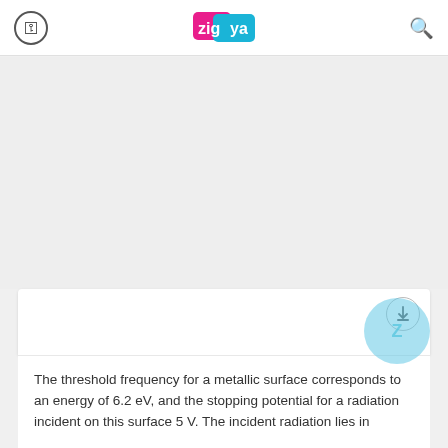Zigya
[Figure (other): Grey advertisement/content placeholder area]
The threshold frequency for a metallic surface corresponds to an energy of 6.2 eV, and the stopping potential for a radiation incident on this surface 5 V. The incident radiation lies in
A. X-ray region